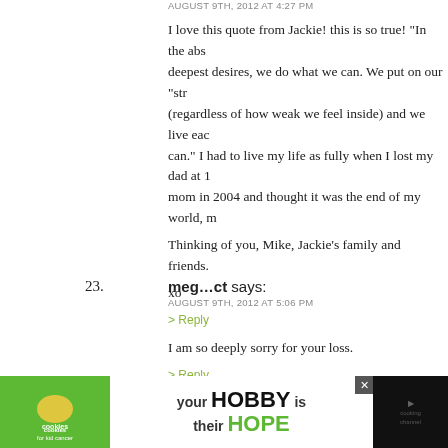AUGUST 9TH, 2012 AT 4:27 PM
I love this quote from Jackie! this is so true! "In the absence of our deepest desires, we do what we can. We put on our “strong face” (regardless of how weak we feel inside) and we live each day the best we can.” I had to live my life as fully when I lost my dad at 1… mom in 2004 and thought it was the end of my world, n…
Thinking of you, Mike, Jackie’s family and friends.
xo
> Reply
23. meg...ct says:
AUGUST 9TH, 2012 AT 5:06 PM
I am so deeply sorry for your loss.
> Reply
24. Beverly says:
AUGUST 9TH, 2012 AT 5:31 PM
[Figure (photo): Advertisement banner: Cookies for Kid's Cancer charity ad with green background, cookie heart image, text 'your HOBBY is their HOPE']